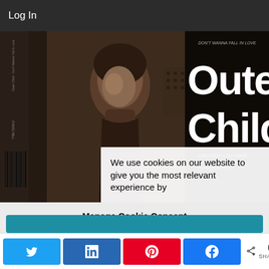Log In
[Figure (photo): Album cover for 'Outer Child' music release showing a woman with dark hair, sepia-toned photograph with large stylized text 'Outer Child' and barcode on the left spine]
We use cookies on our website to give you the most relevant experience by
Manage Cookie Consent
We use cookies to optimize our website and our service.
[Figure (screenshot): Teal/blue cookie consent accept button (partially visible)]
0
SHARES